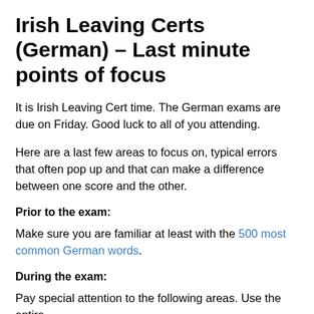Irish Leaving Certs (German) – Last minute points of focus
It is Irish Leaving Cert time. The German exams are due on Friday. Good luck to all of you attending.
Here are a last few areas to focus on, typical errors that often pop up and that can make a difference between one score and the other.
Prior to the exam:
Make sure you are familiar at least with the 500 most common German words.
During the exam:
Pay special attention to the following areas. Use the entire